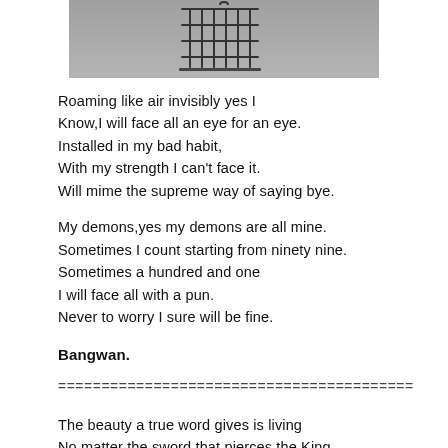[Figure (photo): Black and white photo of a birdcage against a cloudy sky, cropped at top]
Roaming like air invisibly yes I
Know,I will face all an eye for an eye.
Installed in my bad habit,
With my strength I can't face it.
Will mime the supreme way of saying bye.
My demons,yes my demons are all mine.
Sometimes I count starting from ninety nine.
Sometimes a hundred and one
I will face all with a pun.
Never to worry I sure will be fine.
Bangwan.
=========================================
The beauty a true word gives is living
No matter the sword that pierces the King